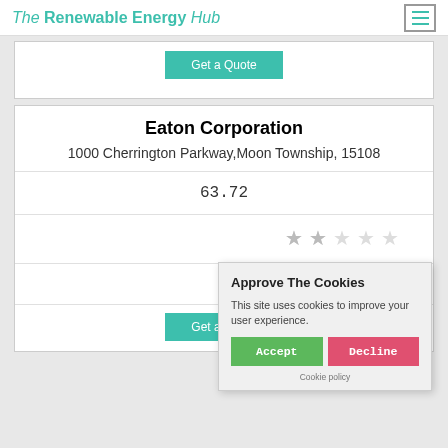The Renewable Energy Hub
Get a Quote
Eaton Corporation
1000 Cherrington Parkway,Moon Township, 15108
63.72
[Figure (other): Star rating display showing approximately 2 out of 5 stars in light grey]
Approve The Cookies
This site uses cookies to improve your user experience.
Accept | Decline
Cookie policy
Get a Quote